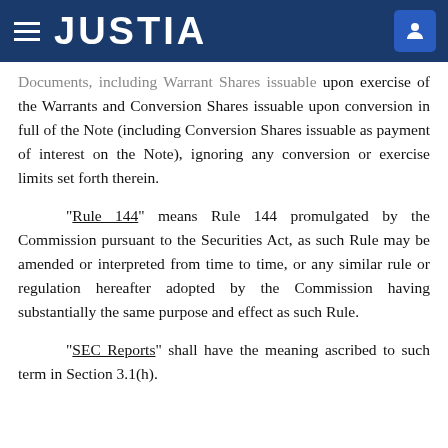JUSTIA
Documents, including Warrant Shares issuable upon exercise of the Warrants and Conversion Shares issuable upon conversion in full of the Note (including Conversion Shares issuable as payment of interest on the Note), ignoring any conversion or exercise limits set forth therein.
“Rule 144” means Rule 144 promulgated by the Commission pursuant to the Securities Act, as such Rule may be amended or interpreted from time to time, or any similar rule or regulation hereafter adopted by the Commission having substantially the same purpose and effect as such Rule.
“SEC Reports” shall have the meaning ascribed to such term in Section 3.1(h).